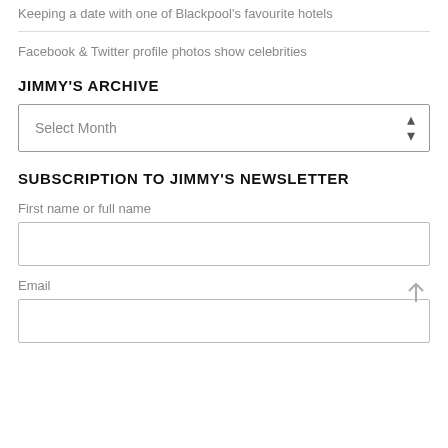Keeping a date with one of Blackpool's favourite hotels
Facebook & Twitter profile photos show celebrities
JIMMY'S ARCHIVE
Select Month
SUBSCRIPTION TO JIMMY'S NEWSLETTER
First name or full name
Email